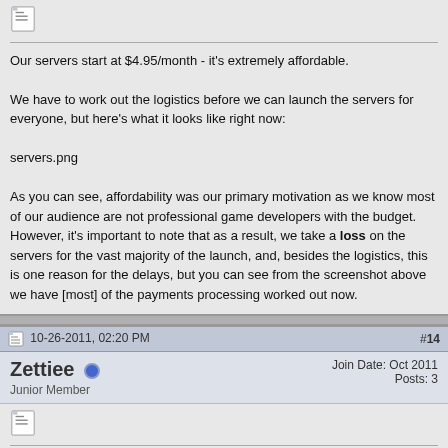Our servers start at $4.95/month - it's extremely affordable.

We have to work out the logistics before we can launch the servers for everyone, but here's what it looks like right now:

servers.png

As you can see, affordability was our primary motivation as we know most of our audience are not professional game developers with the budget. However, it's important to note that as a result, we take a loss on the servers for the vast majority of the launch, and, besides the logistics, this is one reason for the delays, but you can see from the screenshot above we have [most] of the payments processing worked out now.
10-26-2011, 02:20 PM   #14
Zettiee  Junior Member   Join Date: Oct 2011  Posts: 3
Right.
I have my own dedicated server.
If I buy this engine will I need any other packages to make it work for me?
10-28-2011, 06:15 AM   #15